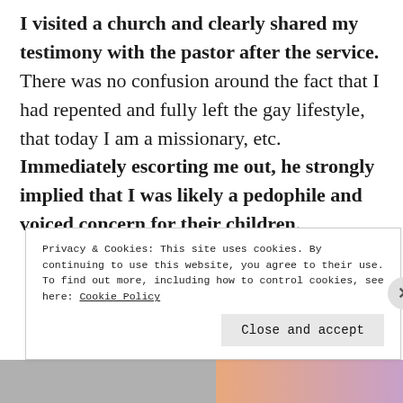I visited a church and clearly shared my testimony with the pastor after the service. There was no confusion around the fact that I had repented and fully left the gay lifestyle, that today I am a missionary, etc. Immediately escorting me out, he strongly implied that I was likely a pedophile and voiced concern for their children.
Privacy & Cookies: This site uses cookies. By continuing to use this website, you agree to their use. To find out more, including how to control cookies, see here: Cookie Policy